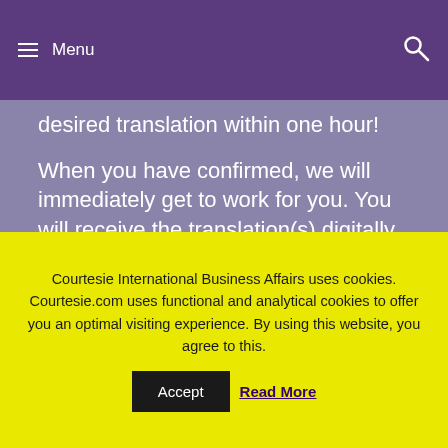Menu
desired translation within one hour!
When you have confirmed, we will immediately get to work for you. You will receive the translation(s) digitally and/or by mail, whichever you prefer.
Your Details
Courtesie International Business Affairs uses cookies. Courtesie.com uses functional and analytical cookies to offer you an optimal visiting experience. By using this website, you agree to this. Accept Read More